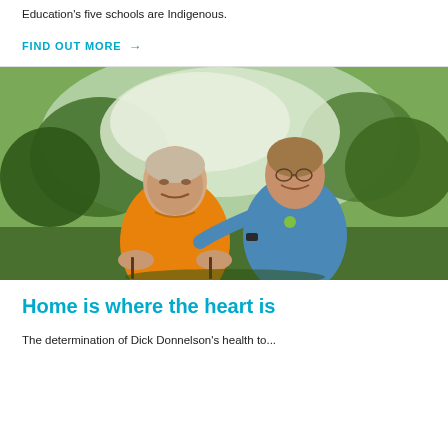Education's five schools are Indigenous.
FIND OUT MORE →
[Figure (photo): An elderly man in an orange shirt seated, with a female carer in a blue uniform polo shirt standing behind him, both smiling outdoors in a park setting with trees and greenery in the background.]
Home is where the heart is
The determination of Dick Donnelson's health to...